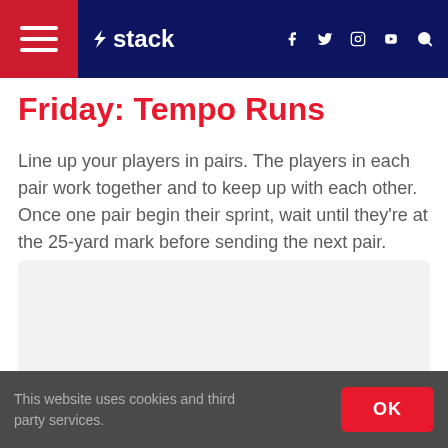stack
Friday: Tempo Runs
Line up your players in pairs. The players in each pair work together and to keep up with each other. Once one pair begin their sprint, wait until they’re at the 25-yard mark before sending the next pair.
[Figure (other): Advertisement or content placeholder box with light gray background]
This website uses cookies and third party services.